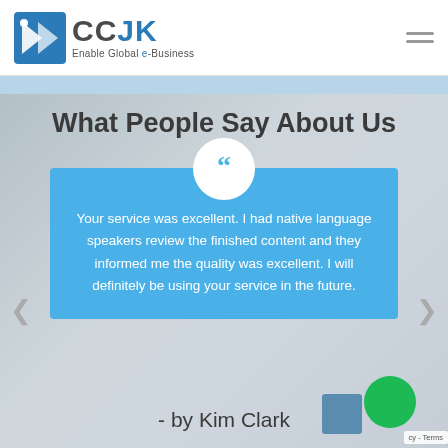[Figure (logo): CCJK logo with blue K icon and tagline 'Enable Global e-Business']
What People Say About Us
Your service was excellent. I had native language speakers review the finished content and they informed me the quality was excellent. I will definitely be using your service in the future.
- by Kim Clark